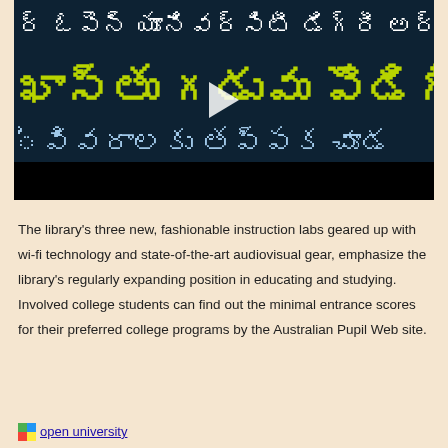[Figure (screenshot): Video thumbnail with Telugu text overlay on dark teal/navy background. Line 1 in white Telugu script, line 2 in large yellow-green bold Telugu script, line 3 in light blue Telugu script. Play button visible. Black bar at bottom.]
The library's three new, fashionable instruction labs geared up with wi-fi technology and state-of-the-art audiovisual gear, emphasize the library's regularly expanding position in educating and studying. Involved college students can find out the minimal entrance scores for their preferred college programs by the Australian Pupil Web site.
open university